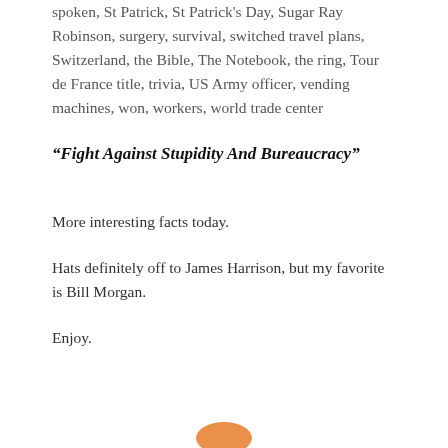spoken, St Patrick, St Patrick's Day, Sugar Ray Robinson, surgery, survival, switched travel plans, Switzerland, the Bible, The Notebook, the ring, Tour de France title, trivia, US Army officer, vending machines, won, workers, world trade center
“Fight Against Stupidity And Bureaucracy”
More interesting facts today.
Hats definitely off to James Harrison, but my favorite is Bill Morgan.
Enjoy.